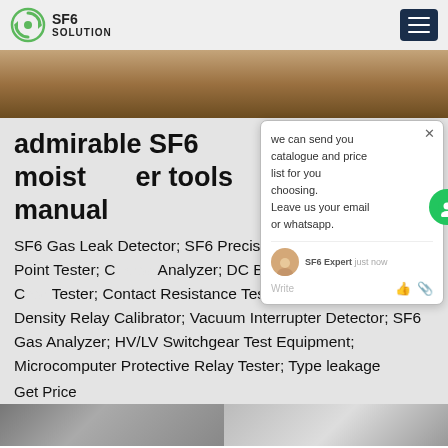SF6 SOLUTION
[Figure (photo): Brown dirt/soil landscape banner image]
admirable SF6 moisture tools manual
SF6 Gas Leak Detector; SF6 Precision meter; SF6 Dew Point Tester; Gas Analyzer; DC Breaker Mechanical Characteristics Tester; Contact Resistance Tester; Automatic SF6 Density Relay Calibrator; Vacuum Interrupter Detector; SF6 Gas Analyzer; HV/LV Switchgear Test Equipment; Microcomputer Protective Relay Tester; Type leakage
Get Price
[Figure (screenshot): Chat popup: we can send you catalogue and price list for you choosing. Leave us your email or whatsapp. SF6 Expert - just now]
[Figure (photo): Two thumbnail images at bottom of page]